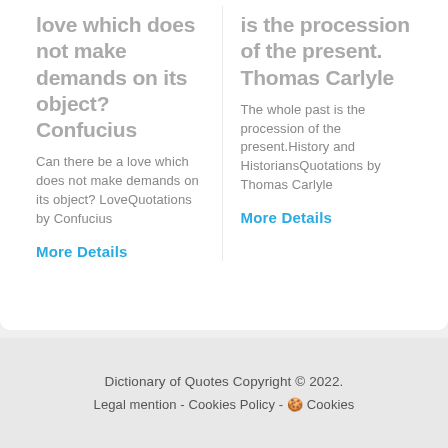love which does not make demands on its object? Confucius
Can there be a love which does not make demands on its object? LoveQuotations by Confucius
More Details
is the procession of the present. Thomas Carlyle
The whole past is the procession of the present.History and HistoriansQuotations by Thomas Carlyle
More Details
Dictionary of Quotes Copyright © 2022.
Legal mention - Cookies Policy - 🍪 Cookies